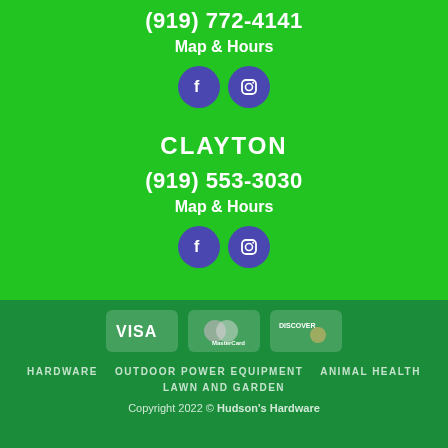(919) 772-4141
Map & Hours
[Figure (illustration): Facebook and Instagram social media icons as purple circles]
CLAYTON
(919) 553-3030
Map & Hours
[Figure (illustration): Facebook and Instagram social media icons as purple circles]
[Figure (illustration): Visa, MasterCard, and Discover payment method icons]
HARDWARE   OUTDOOR POWER EQUIPMENT   ANIMAL HEALTH
LAWN AND GARDEN
Copyright 2022 © Hudson's Hardware